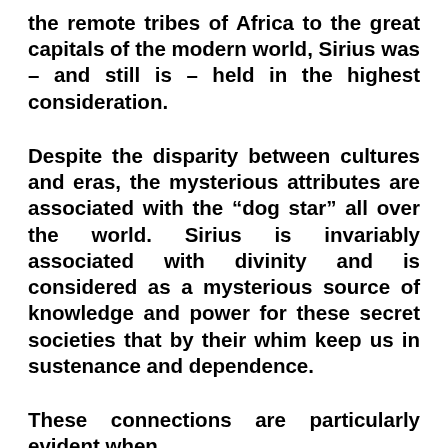the remote tribes of Africa to the great capitals of the modern world, Sirius was – and still is – held in the highest consideration.
Despite the disparity between cultures and eras, the mysterious attributes are associated with the “dog star” all over the world. Sirius is invariably associated with divinity and is considered as a mysterious source of knowledge and power for these secret societies that by their whim keep us in sustenance and dependence.
These connections are particularly evident when